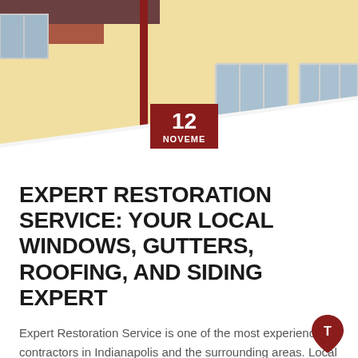[Figure (photo): Photo of a yellow building exterior with two white-framed windows, a red drainpipe, and a white diagonal roof section in the foreground]
12 NOVEMBER
EXPERT RESTORATION SERVICE: YOUR LOCAL WINDOWS, GUTTERS, ROOFING, AND SIDING EXPERT
Expert Restoration Service is one of the most experienced contractors in Indianapolis and the surrounding areas. Local homeowners know they